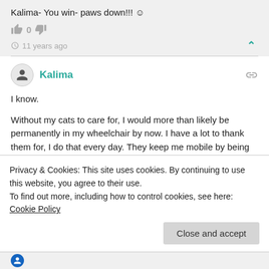Kalima- You win- paws down!!! 🙂
0
11 years ago
Kalima
I know.
Without my cats to care for, I would more than likely be permanently in my wheelchair by now. I have a lot to thank them for, I do that every day. They keep me mobile by being their total
Privacy & Cookies: This site uses cookies. By continuing to use this website, you agree to their use.
To find out more, including how to control cookies, see here: Cookie Policy
Close and accept